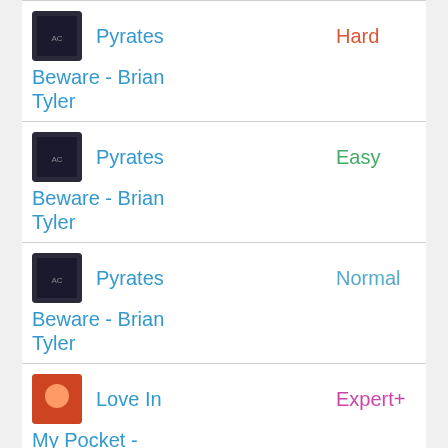Pyrates | Hard | Beware - Brian Tyler
Pyrates | Easy | Beware - Brian Tyler
Pyrates | Normal | Beware - Brian Tyler
Love In | Expert+ | My Pocket - Rich Brian
Real to | Normal | Me -